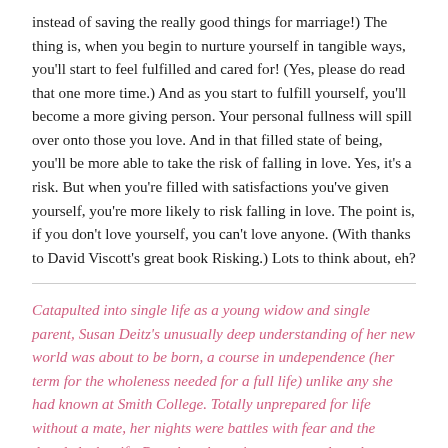instead of saving the really good things for marriage!) The thing is, when you begin to nurture yourself in tangible ways, you'll start to feel fulfilled and cared for! (Yes, please do read that one more time.) And as you start to fulfill yourself, you'll become a more giving person. Your personal fullness will spill over onto those you love. And in that filled state of being, you'll be more able to take the risk of falling in love. Yes, it's a risk. But when you're filled with satisfactions you've given yourself, you're more likely to risk falling in love. The point is, if you don't love yourself, you can't love anyone. (With thanks to David Viscott's great book Risking.) Lots to think about, eh?
Catapulted into single life as a young widow and single parent, Susan Deitz's unusually deep understanding of her new world was about to be born, a course in undependence (her term for the wholeness needed for a full life) unlike any she had known at Smith College. Totally unprepared for life without a mate, her nights were battles with fear and the dreaded what-ifs. But when those tigers retreated, each new dawn found a more confident woman. On her own, living out her singleness, she was using her own judgment to make decisions for her little family—minor perhaps in the wider